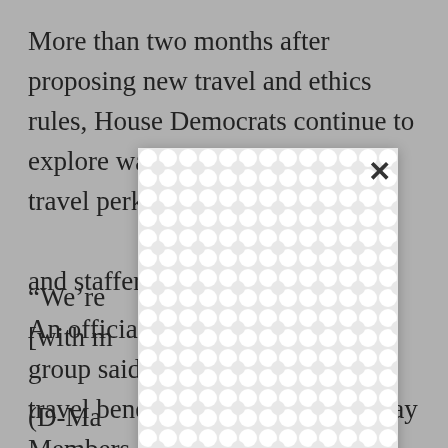More than two months after proposing new travel and ethics rules, House Democrats continue to explore ways to extend certain travel perks to the same-sex domestic partners of any Members and staffers
[Figure (other): A modal/popup overlay with a white background featuring a repeating circular pattern (chain-link or bubble pattern), with an X close button in the upper right corner, obscuring part of the article text beneath.]
“We’re [in the process of doing] business [with members of Congress,” said Rep. Barney Frank (D-Mass.), chairman of the Financial Services Committee and one of the few openly gay Members of Congress.
An official with a conservative group said any attempt to extend travel benefits to the partners of gay Members and staffers could be challenged.